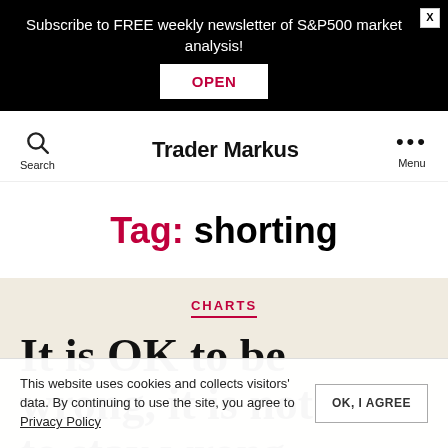Subscribe to FREE weekly newsletter of S&P500 market analysis!
Trader Markus
Tag: shorting
CHARTS
It is OK to be wrong, it is not OK to stay wrong
This website uses cookies and collects visitors' data. By continuing to use the site, you agree to Privacy Policy